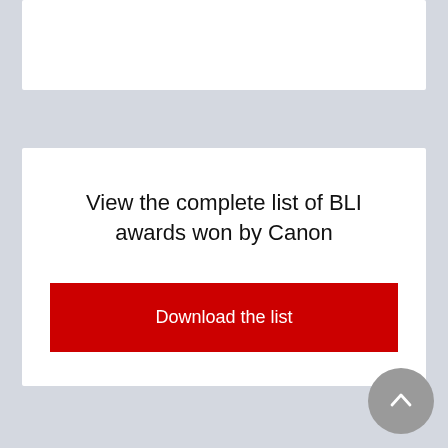View the complete list of BLI awards won by Canon
Download the list
Our Award-Winning A3 Printers